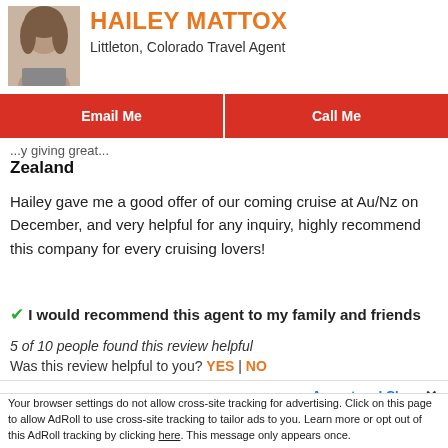[Figure (photo): Profile photo of Hailey Mattox, a woman with light hair]
HAILEY MATTOX
Littleton, Colorado Travel Agent
Email Me
Call Me
...Zealand
Hailey gave me a good offer of our coming cruise at Au/Nz on December, and very helpful for any inquiry, highly recommend this company for every cruising lovers!
✔ I would recommend this agent to my family and friends
5 of 10 people found this review helpful
Was this review helpful to you? YES | NO
ICE
...s I've booked for my...
We use cookies to personalize content and ads, to provide social media features and to analyze our traffic. We also share information about your use of our site with our social media, advertising and analytic partners. Consent
Accept and Close ✕
Your browser settings do not allow cross-site tracking for advertising. Click on this page to allow AdRoll to use cross-site tracking to tailor ads to you. Learn more or opt out of this AdRoll tracking by clicking here. This message only appears once.